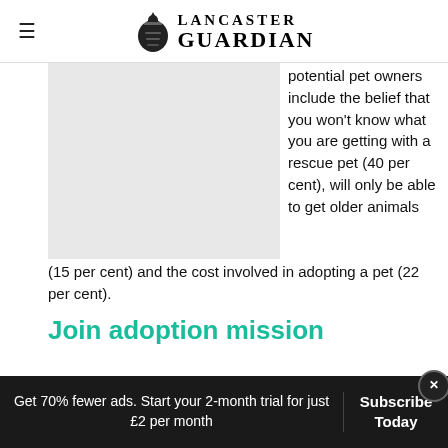LANCASTER GUARDIAN
[Figure (other): Light grey image placeholder rectangle]
potential pet owners include the belief that you won't know what you are getting with a rescue pet (40 per cent), will only be able to get older animals (15 per cent) and the cost involved in adopting a pet (22 per cent).
Join adoption mission
Get 70% fewer ads. Start your 2-month trial for just £2 per month
Subscribe Today